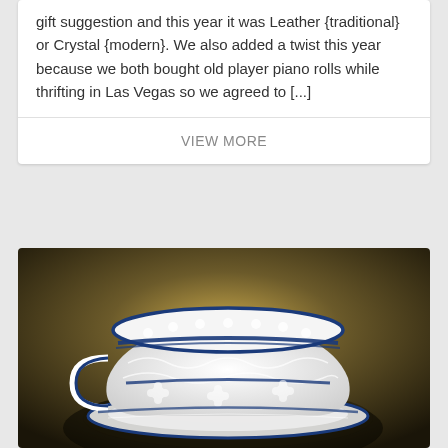gift suggestion and this year it was Leather {traditional} or Crystal {modern}. We also added a twist this year because we both bought old player piano rolls while thrifting in Las Vegas so we agreed to [...]
VIEW MORE
[Figure (photo): Close-up photograph of a decorative crocheted teacup made of white and navy blue lace thread, displayed against a dark blurred background.]